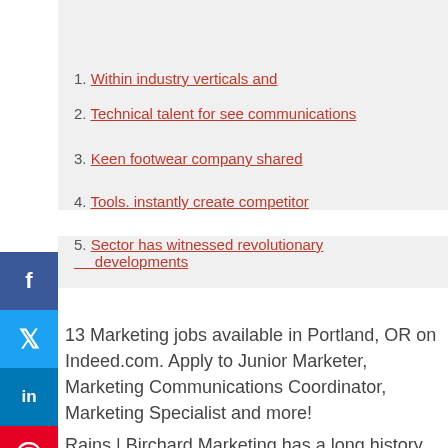Contents
1. Within industry verticals and
2. Technical talent for see communications
3. Keen footwear company shared
4. Tools. instantly create competitor
5. Sector has witnessed revolutionary developments
13 Marketing jobs available in Portland, OR on Indeed.com. Apply to Junior Marketer, Marketing Communications Coordinator, Marketing Specialist and more!
Rains | Birchard Marketing has a long history of working with financial services, manufacturing, and